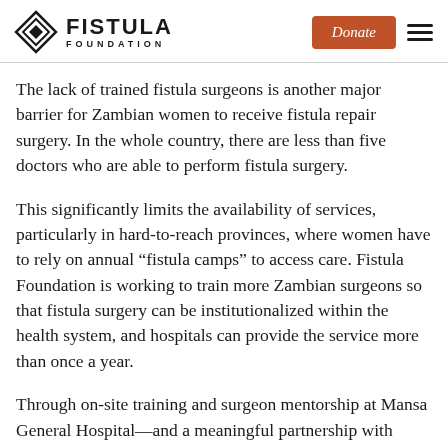FISTULA FOUNDATION | Donate
The lack of trained fistula surgeons is another major barrier for Zambian women to receive fistula repair surgery. In the whole country, there are less than five doctors who are able to perform fistula surgery.
This significantly limits the availability of services, particularly in hard-to-reach provinces, where women have to rely on annual “fistula camps” to access care. Fistula Foundation is working to train more Zambian surgeons so that fistula surgery can be institutionalized within the health system, and hospitals can provide the service more than once a year.
Through on-site training and surgeon mentorship at Mansa General Hospital—and a meaningful partnership with FIGO, the Federation of International Gynecology and Obstetrics, Fistula Foundation is taking...